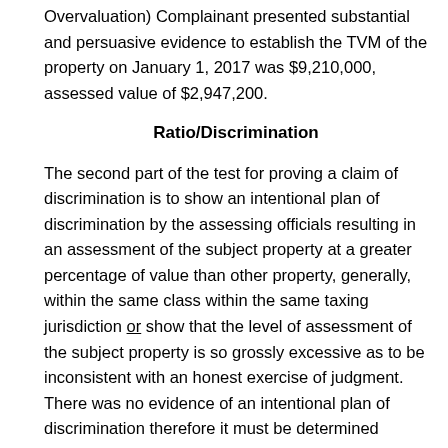Overvaluation) Complainant presented substantial and persuasive evidence to establish the TVM of the property on January 1, 2017 was $9,210,000, assessed value of $2,947,200.
Ratio/Discrimination
The second part of the test for proving a claim of discrimination is to show an intentional plan of discrimination by the assessing officials resulting in an assessment of the subject property at a greater percentage of value than other property, generally, within the same class within the same taxing jurisdiction or show that the level of assessment of the subject property is so grossly excessive as to be inconsistent with an honest exercise of judgment. There was no evidence of an intentional plan of discrimination therefore it must be determined whether the subject property's level of assessment was grossly excessive as to be inconsistent with an honest exercise of judgment.
Once TVM of the subject property is considered and the actual assessment ratio for the subject property is calculated, it must be